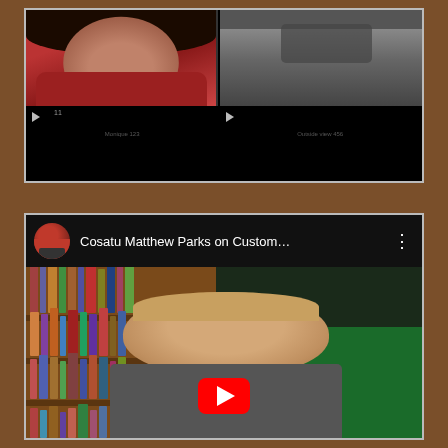[Figure (screenshot): Screenshot of a video player interface showing two video thumbnails side by side: left shows a person with curly hair in a red shirt, right shows people's legs near a vehicle. Below the thumbnails is a black area with playback controls and timeline.]
[Figure (screenshot): YouTube video embed showing 'Cosatu Matthew Parks on Custom...' with a circular avatar of a crowd/vehicle scene. The video shows a man with short blonde/grey hair in front of a bookshelf on the left and a dark green background on the right. A red YouTube play button is visible at the bottom center.]